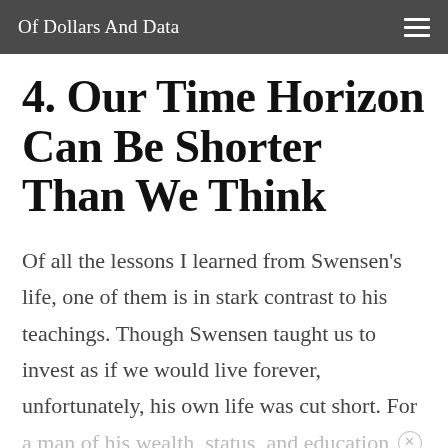Of Dollars And Data
4. Our Time Horizon Can Be Shorter Than We Think
Of all the lessons I learned from Swensen's life, one of them is in stark contrast to his teachings. Though Swensen taught us to invest as if we would live forever, unfortunately, his own life was cut short. For a man of his wealth, status, and education level to die at 67 is a grim reminder that the